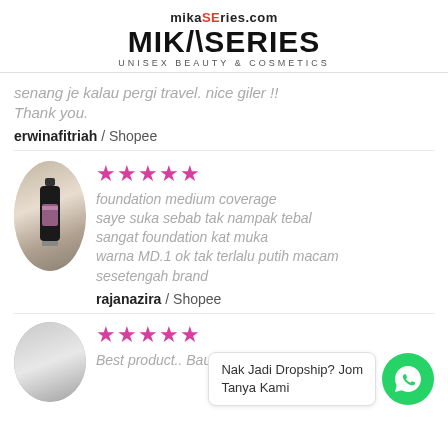[Figure (logo): MikaSeries Unisex Beauty & Cosmetics logo with URL mikaSEries.com]
senang je kalau pergi travel. nice giler !! Thank you.
erwinafitriah / Shopee
[Figure (photo): Circular product image showing a foundation bottle]
★★★★★
foundation medium coverage saye suka sebab tak nampak tebal sangat foundation kat muka warna MD.1 ok tak terlalu putih macam sesetengah brand
rajanazira / Shopee
[Figure (photo): Circular product image partially visible at bottom left]
★★★★★
Best product.. Bau Wangi, kulit jd kurang
Nak Jadi Dropship? Jom Tanya Kami
[Figure (logo): WhatsApp green circle icon]